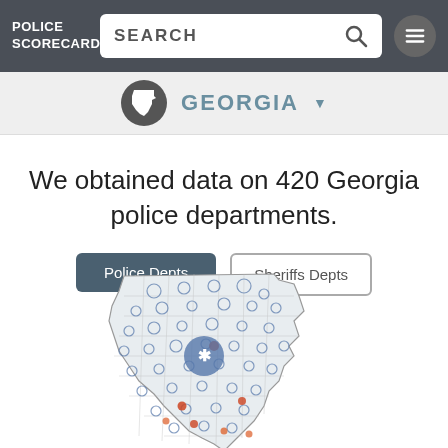POLICE SCORECARD
SEARCH
GEORGIA
We obtained data on 420 Georgia police departments.
Police Depts
Sheriffs Depts
[Figure (map): Choropleth/dot map of Georgia showing police department locations across counties, with blue circle markers and red/orange dots indicating department locations. A large circle marker with asterisk appears near the center of the state (Atlanta area).]